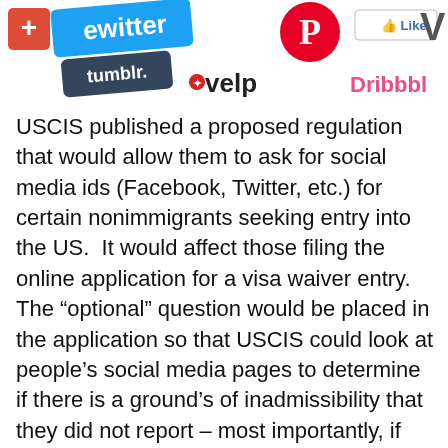[Figure (illustration): Collage of social media logos including Twitter, Pinterest, Tumblr, Yelp, Facebook Like button, and Dribbble]
USCIS published a proposed regulation that would allow them to ask for social media ids (Facebook, Twitter, etc.) for certain nonimmigrants seeking entry into the US.  It would affect those filing the online application for a visa waiver entry.  The “optional” question would be placed in the application so that USCIS could look at people’s social media pages to determine if there is a ground’s of inadmissibility that they did not report – most importantly, if they are involved in terrorist activities or in supporting terrorist groups.
This is an attempt by USCIS to ensure that those coming in through the visa waiver program, who are not required to go through the sometimes